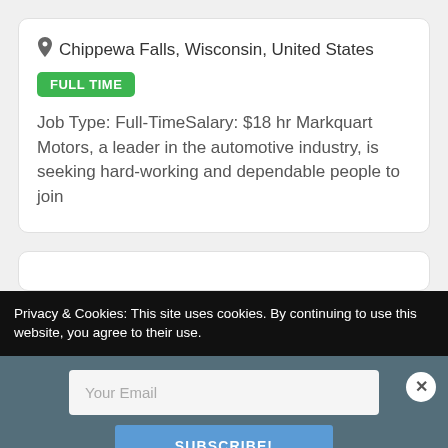Chippewa Falls, Wisconsin, United States
FULL TIME
Job Type: Full-TimeSalary: $18 hr Markquart Motors, a leader in the automotive industry, is seeking hard-working and dependable people to join
Privacy & Cookies: This site uses cookies. By continuing to use this website, you agree to their use.
Your Email
SUBSCRIBE!